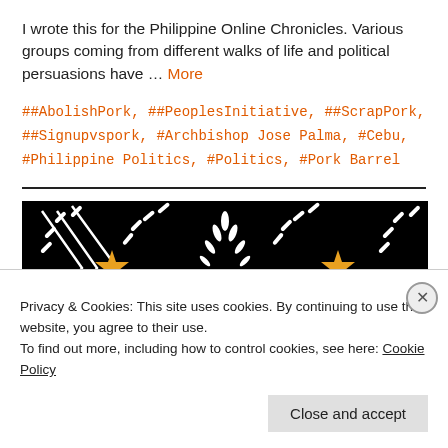I wrote this for the Philippine Online Chronicles. Various groups coming from different walks of life and political persuasions have … More
##AbolishPork, ##PeoplesInitiative, ##ScrapPork, ##Signupvspork, #Archbishop Jose Palma, #Cebu, #Philippine Politics, #Politics, #Pork Barrel
[Figure (illustration): Decorative black background textile/fabric pattern with white zigzag/chevron designs and orange star/cross motifs, resembling a traditional Filipino weave pattern.]
Privacy & Cookies: This site uses cookies. By continuing to use this website, you agree to their use. To find out more, including how to control cookies, see here: Cookie Policy